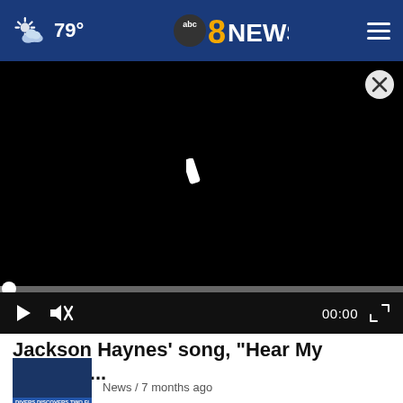79° abc8NEWS
[Figure (screenshot): Black video player with a small bright diagonal shape in the center, a close (X) button in top-right, a progress bar at bottom, playback controls (play, mute, 00:00, fullscreen) on a dark bar]
Jackson Haynes’ song, “Hear My Voice,” i...
[Figure (screenshot): Thumbnail image of a related news story with a blue banner showing text, labelled News / 7 months ago]